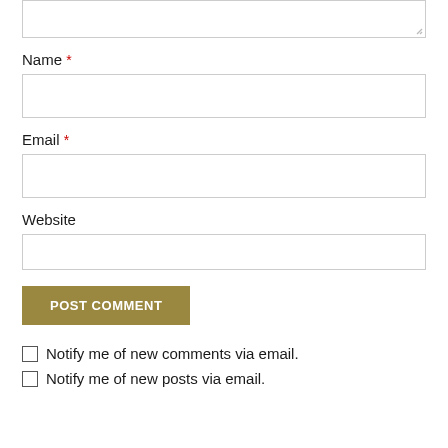[Figure (screenshot): Partial textarea input box at the top of the page, with resize handle in bottom-right corner]
Name *
[Figure (screenshot): Name input field (empty text box)]
Email *
[Figure (screenshot): Email input field (empty text box)]
Website
[Figure (screenshot): Website input field (empty text box)]
POST COMMENT
Notify me of new comments via email.
Notify me of new posts via email.